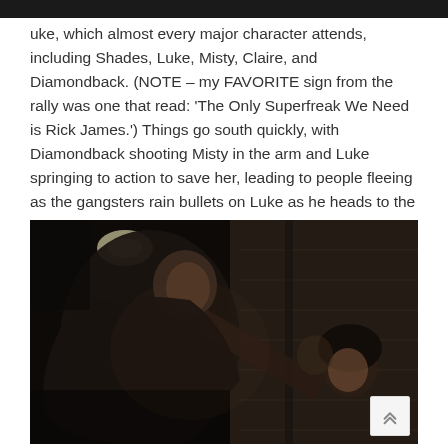[Figure (photo): Dark strip at top, partial image from previous screen section]
uke, which almost every major character attends, including Shades, Luke, Misty, Claire, and Diamondback. (NOTE – my FAVORITE sign from the rally was one that read: 'The Only Superfreak We Need is Rick James.') Things go south quickly, with Diamondback shooting Misty in the arm and Luke springing to action to save her, leading to people fleeing as the gangsters rain bullets on Luke as he heads to the kitchen to protect Misty.
[Figure (photo): Dark cinematic still from Luke Cage TV show showing two characters in a dimly lit scene, one leaning toward the other]